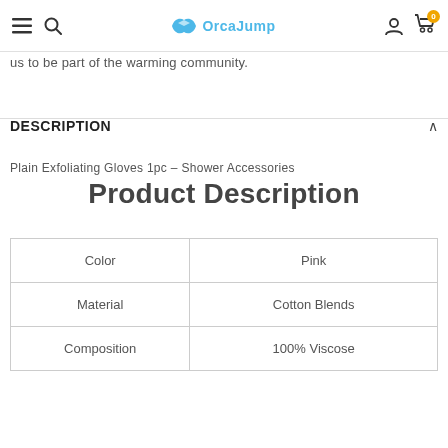OrcaJump navigation bar with hamburger menu, search, logo, user icon, cart icon with badge 0
us to be part of the warming community.
DESCRIPTION
Plain Exfoliating Gloves 1pc - Shower Accessories
Product Description
|  |  |
| --- | --- |
| Color | Pink |
| Material | Cotton Blends |
| Composition | 100% Viscose |